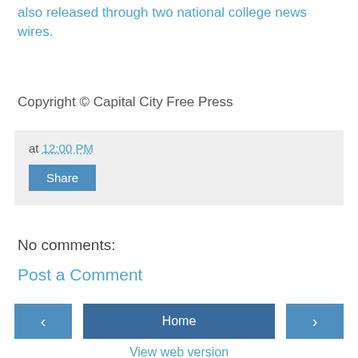also released through two national college news wires.
Copyright © Capital City Free Press
at 12:00 PM
Share
No comments:
Post a Comment
‹  Home  ›
View web version
Contributors